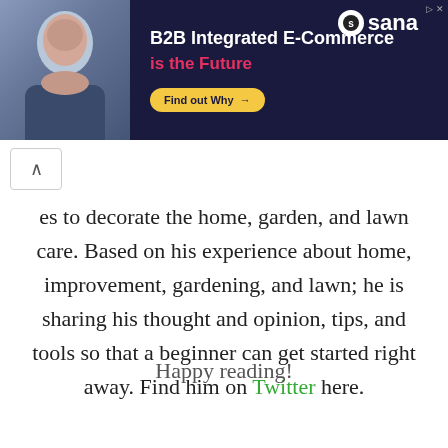[Figure (screenshot): Advertisement banner with dark navy background showing a man in a dark shirt, text 'B2B Integrated E-Commerce is the Future', Sana logo, and 'Find out Why' button]
es to decorate the home, garden, and lawn care. Based on his experience about home, improvement, gardening, and lawn; he is sharing his thought and opinion, tips, and tools so that a beginner can get started right away. Find him on Twitter here.
Happy reading!